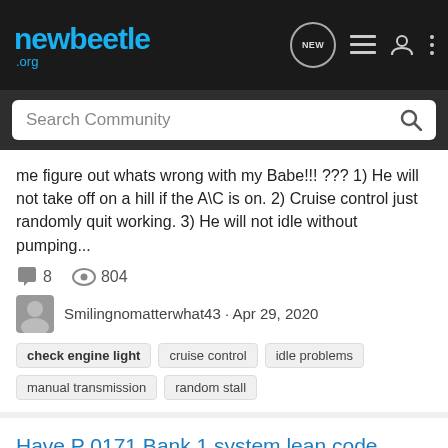newbeetle.org
Search Community
me figure out whats wrong with my Babe!!! ??? 1) He will not take off on a hill if the A\C is on. 2) Cruise control just randomly quit working. 3) He will not idle without pumping...
8 comments, 804 views, Smilingnomatterwhat43 · Apr 29, 2020
check engine light
cruise control
idle problems
manual transmission
random stall
Have P 0171 Bank 1 system lean code
New Member Forum
Bought a used 2003 Turbo 1.8 liter vw Beetle. It has 90,000 miles. Took to a new shop, that my normal shop knew.(They don't work on Vw) After a week of excuses finally fixed